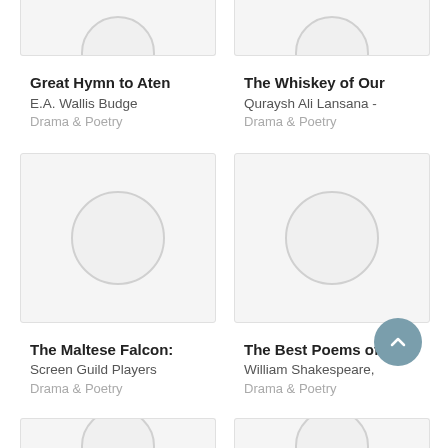[Figure (screenshot): Book cover placeholder for Great Hymn to Aten with circle icon]
Great Hymn to Aten
E.A. Wallis Budge
Drama & Poetry
[Figure (screenshot): Book cover placeholder for The Whiskey of Our with circle icon]
The Whiskey of Our
Quraysh Ali Lansana -
Drama & Poetry
[Figure (screenshot): Book cover placeholder for The Maltese Falcon with circle icon]
The Maltese Falcon:
Screen Guild Players
Drama & Poetry
[Figure (screenshot): Book cover placeholder for The Best Poems of All with circle icon]
The Best Poems of All
William Shakespeare,
Drama & Poetry
[Figure (screenshot): Partial book cover placeholder bottom row left]
[Figure (screenshot): Partial book cover placeholder bottom row right]